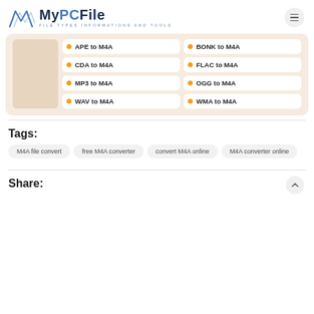MyPCFile — FILE TYPES INFORMATIONS AND TOOLS
[Figure (other): Conversion panel showing audio format conversion links to M4A: APE to M4A, BONK to M4A, CDA to M4A, FLAC to M4A, MP3 to M4A, OGG to M4A, WAV to M4A, WMA to M4A]
Tags:
M4A file convert
free M4A converter
convert M4A online
M4A converter online
Share: